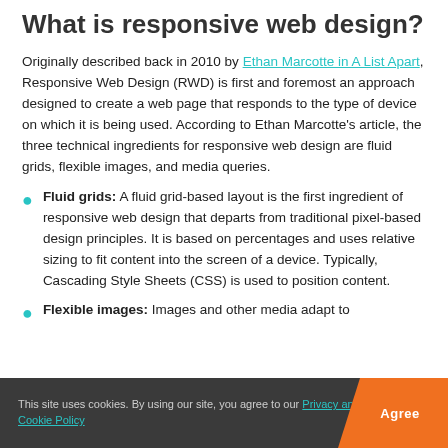What is responsive web design?
Originally described back in 2010 by Ethan Marcotte in A List Apart, Responsive Web Design (RWD) is first and foremost an approach designed to create a web page that responds to the type of device on which it is being used. According to Ethan Marcotte's article, the three technical ingredients for responsive web design are fluid grids, flexible images, and media queries.
Fluid grids: A fluid grid-based layout is the first ingredient of responsive web design that departs from traditional pixel-based design principles. It is based on percentages and uses relative sizing to fit content into the screen of a device. Typically, Cascading Style Sheets (CSS) is used to position content.
Flexible images: Images and other media adapt to
This site uses cookies. By using our site, you agree to our Privacy and Cookie Policy  Agree